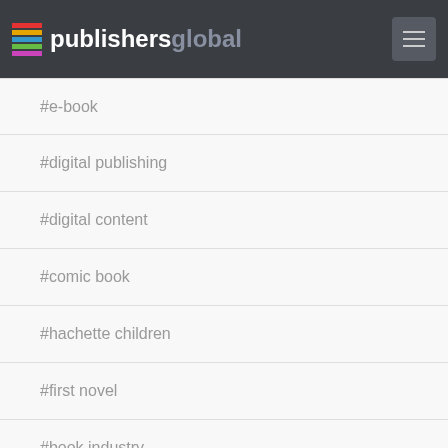publishersglobal
#e-book
#digital publishing
#digital content
#comic book
#hachette children
#first novel
#book industry
#reading list
#barnes